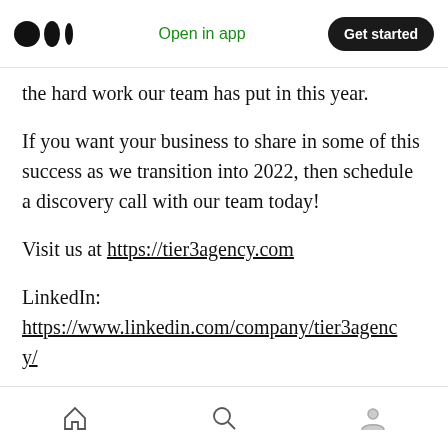Medium app header with logo, 'Open in app', and 'Get started' button
the hard work our team has put in this year.
If you want your business to share in some of this success as we transition into 2022, then schedule a discovery call with our team today!
Visit us at https://tier3agency.com
LinkedIn: https://www.linkedin.com/company/tier3agency/
Facebook: https://www.facebook.com/tier3agency
Bottom navigation bar with home, search, and profile icons